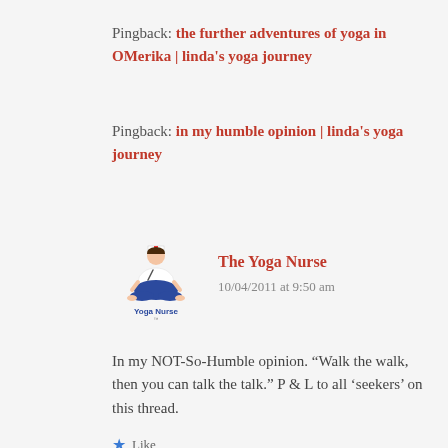Pingback: the further adventures of yoga in OMerika | linda's yoga journey
Pingback: in my humble opinion | linda's yoga journey
[Figure (logo): The Yoga Nurse avatar logo — a cartoon woman in yoga lotus pose wearing a nurse outfit, with text 'Yoga Nurse' beneath]
The Yoga Nurse
10/04/2011 at 9:50 am
In my NOT-So-Humble opinion. “Walk the walk, then you can talk the talk.” P & L to all ‘seekers’ on this thread.
★ Like